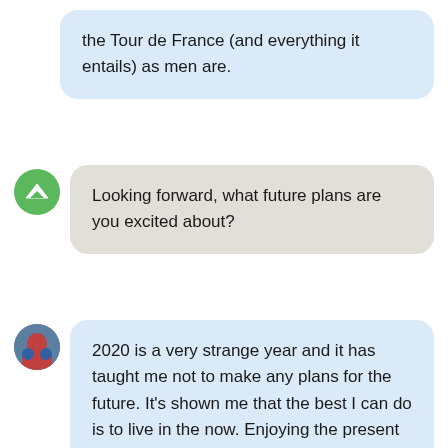the Tour de France (and everything it entails) as men are.
Looking forward, what future plans are you excited about?
2020 is a very strange year and it has taught me not to make any plans for the future. It's shown me that the best I can do is to live in the now. Enjoying the present means weekend activities, whether they are on the bike, on a kayak, on skis, or on top of a mountain. If all goes well, the sun will continue to rise